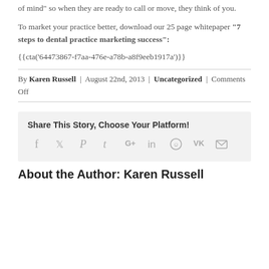of mind” so when they are ready to call or move, they think of you.
To market your practice better, download our 25 page whitepaper “7 steps to dental practice marketing success”:
{{cta(’64473867-f7aa-476e-a78b-a8f9eeb1917a’)}}
By Karen Russell | August 22nd, 2013 | Uncategorized | Comments Off
Share This Story, Choose Your Platform!
[Figure (infographic): Social sharing icons: Facebook, Twitter, Pinterest, Tumblr, Google+, LinkedIn, Reddit, VK, Email]
About the Author: Karen Russell